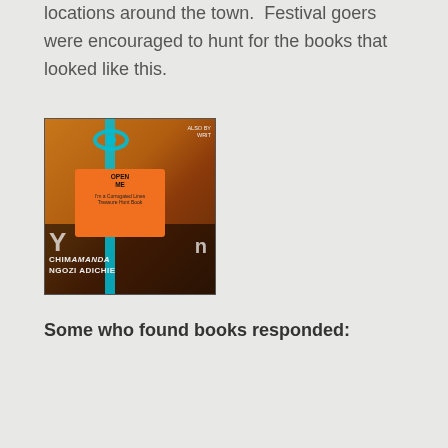locations around the town.  Festival goers were encouraged to hunt for the books that looked like this.
[Figure (photo): A book with a turquoise ribbon tied around it. The book has an orange card attached reading 'OPEN ME' and 'I'm a Corrugated Lines Treasure Hunt Book'. The book is by CHIMAMANDA NGOZI ADICHIE.]
Some who found books responded: